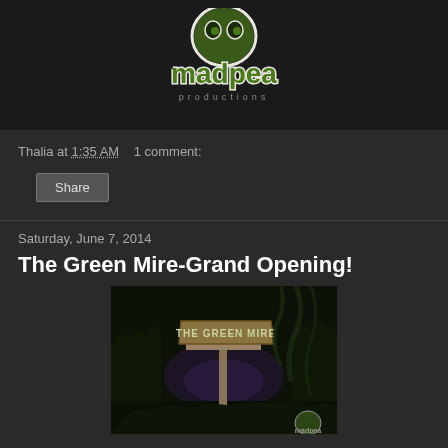[Figure (logo): MadPea Productions logo — green cartoon pea head character above stylized green 'madpea' text with 'productions' below]
Thalia at 1:35 AM    1 comment:
Share
Saturday, June 7, 2014
The Green Mire-Grand Opening!
[Figure (photo): Dark atmospheric game scene showing a wooden sign reading 'THE GREEN MIRE' surrounded by dark trees and moody lighting, with a MadPea logo watermark in the bottom right corner]